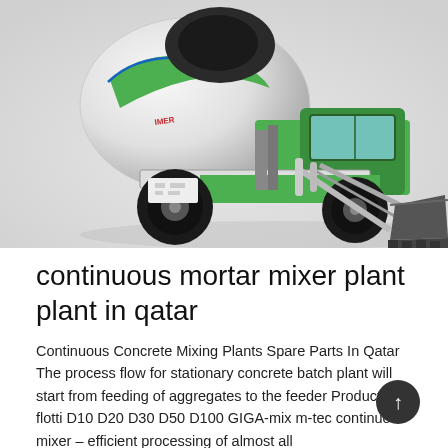[Figure (photo): A self-loading concrete mixer truck with a large white and green rotating drum on the back and a front-loading bucket/scoop arm. The vehicle is shown on a light grey background.]
continuous mortar mixer plant plant in qatar
Continuous Concrete Mixing Plants Spare Parts In Qatar The process flow for stationary concrete batch plant will start from feeding of aggregates to the feeder Products flotti D10 D20 D30 D50 D100 GIGA-mix m-tec continuous mixer – efficient processing of almost all